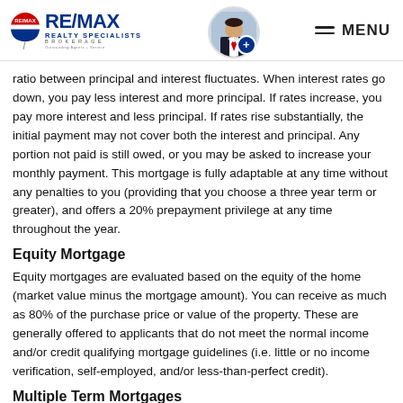RE/MAX realty SPECIALISTS BROKERAGE — MENU
ratio between principal and interest fluctuates. When interest rates go down, you pay less interest and more principal. If rates increase, you pay more interest and less principal. If rates rise substantially, the initial payment may not cover both the interest and principal. Any portion not paid is still owed, or you may be asked to increase your monthly payment. This mortgage is fully adaptable at any time without any penalties to you (providing that you choose a three year term or greater), and offers a 20% prepayment privilege at any time throughout the year.
Equity Mortgage
Equity mortgages are evaluated based on the equity of the home (market value minus the mortgage amount). You can receive as much as 80% of the purchase price or value of the property. These are generally offered to applicants that do not meet the normal income and/or credit qualifying mortgage guidelines (i.e. little or no income verification, self-employed, and/or less-than-perfect credit).
Multiple Term Mortgages
This type of mortgage provides the convenience of the lower rates of a short term mortgage and the security of a long term, in one mortgage. Your mortgage can be split in to as many as five parts, all